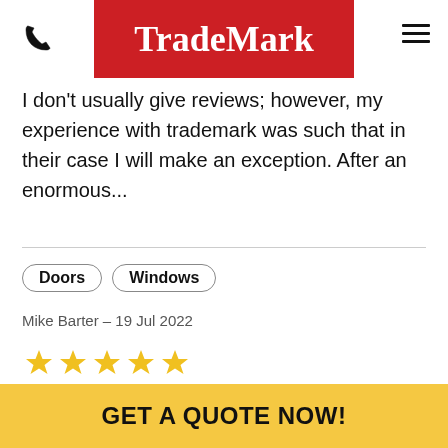TradeMark
I don't usually give reviews; however, my experience with trademark was such that in their case I will make an exception.  After an enormous...
Doors   Windows
Mike Barter – 19 Jul 2022
[Figure (other): Five gold stars rating]
Found the company from a recommendation which didn't disappoint. Quick to respond to enquiry and give a valuation. Realistic on the time
GET A QUOTE NOW!